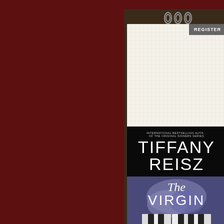[Figure (illustration): Screenshot of a website or app interface showing a dark red background on the left half, and a spiral-bound notebook on the right half. The notebook has a leatherette cover with metal spiral rings at the top and a grid-paper page. A gray 'REGISTER' button appears at the top right of the notebook page. The bottom portion of the notebook page shows a book cover for 'The Virgin' by Tiffany Reisz, described as 'International Bestselling Author of The Original Sinners Series', with a dark background, large white author name text, and a close-up photo of hands on piano keys in purple-blue tones.]